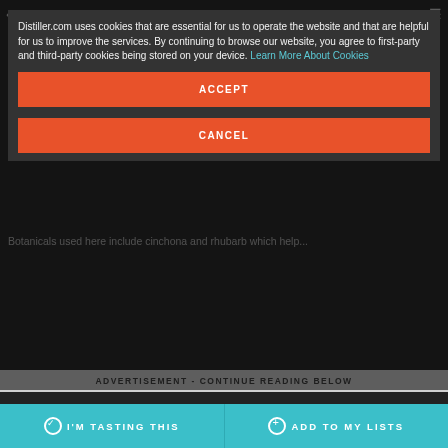DISTILLER
Distiller.com uses cookies that are essential for us to operate the website and that are helpful for us to improve the services. By continuing to browse our website, you agree to first-party and third-party cookies being stored on your device. Learn More About Cookies
ACCEPT
CANCEL
Botanicals used here include cinchona and rhubarb which help...
ADVERTISEMENT - CONTINUE READING BELOW
I'M TASTING THIS
ADD TO MY LISTS